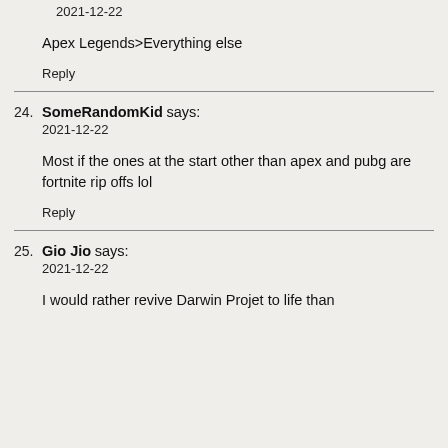2021-12-22
Apex Legends>Everything else
Reply
24. SomeRandomKid says:
2021-12-22
Most if the ones at the start other than apex and pubg are fortnite rip offs lol
Reply
25. Gio Jio says:
2021-12-22
I would rather revive Darwin Projet to life than